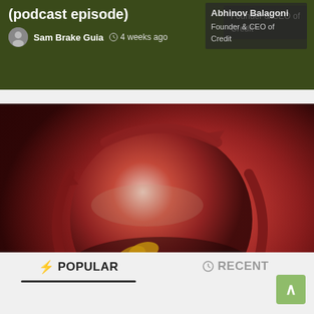[Figure (screenshot): Top article card with dark green background showing partial title about company remotely as an international founder (podcast episode), with author Sam Brake Guia, timestamp 4 weeks ago, and overlay showing Abhinov Balagoni, Founder & CEO of Credit]
Company remotely as an international founder (podcast episode)
Sam Brake Guia · 4 weeks ago
[Figure (photo): Main article card with globe image surrounded by circular recycling arrows on a red/orange background, tagged BUSINESS]
'Circular economy is key' to tackling global crises: WEF Future Champions Dialogues
Tim Hinchliffe · 1 month ago
POPULAR | RECENT